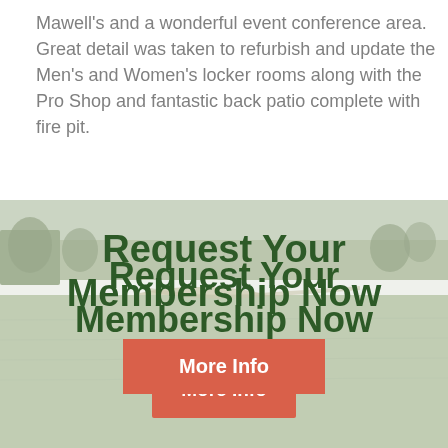Mawell's and a wonderful event conference area.  Great detail was taken to refurbish and update the Men's and Women's locker rooms along with the Pro Shop and fantastic back patio complete with fire pit.
[Figure (photo): Golf course landscape photo showing green fairway, trees in background, and a bunker/sand trap area. Muted, faded color tones overlaid with 'Request Your Membership Now' heading and a 'More Info' red button.]
Request Your Membership Now